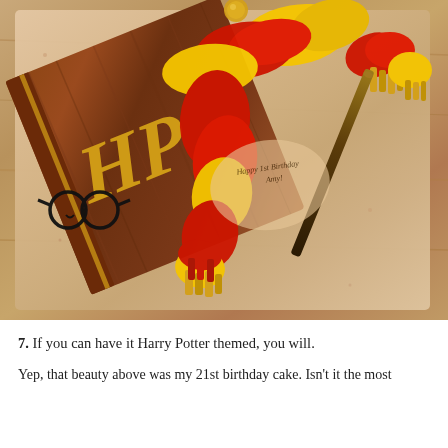[Figure (photo): A Harry Potter themed birthday cake viewed from above. The cake is designed to look like a brown wooden HP book with golden HP lettering, draped with a red and gold Gryffindor scarf. Black round glasses, a dark wand, and a birthday message scroll are also on the cake. The cake sits on a beige cake board on a wooden table.]
7. If you can have it Harry Potter themed, you will.
Yep, that beauty above was my 21st birthday cake. Isn't it the most